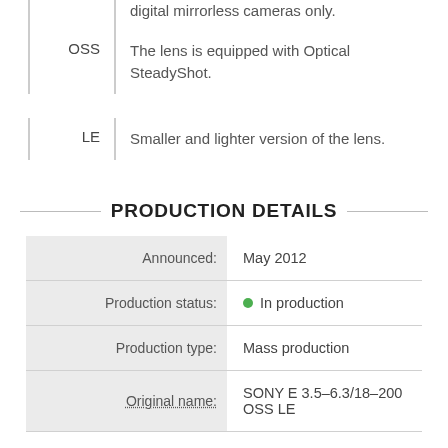digital mirrorless cameras only.
OSS — The lens is equipped with Optical SteadyShot.
LE — Smaller and lighter version of the lens.
PRODUCTION DETAILS
|  |  |
| --- | --- |
| Announced: | May 2012 |
| Production status: | ● In production |
| Production type: | Mass production |
| Original name: | SONY E 3.5–6.3/18–200 OSS LE |